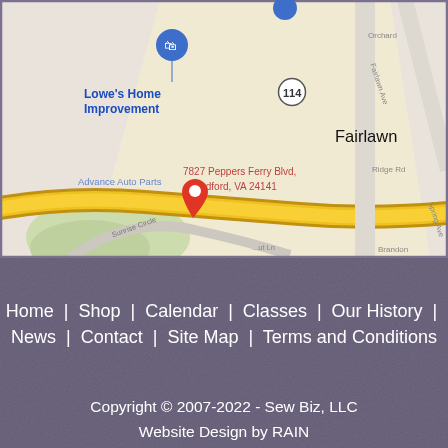[Figure (map): Google Maps screenshot showing 7827 Peppers Ferry Blvd, Radford, VA 24141. Nearby landmarks include Lowe's Home Improvement, Advance Auto Parts, Sheetz, Tobacco hut & vape & Delta 8, and the Fairlawn area. Road 114 is visible.]
Home | Shop | Calendar | Classes | Our History | News | Contact | Site Map | Terms and Conditions
Copyright © 2007-2022 - Sew Biz, LLC
Website Design by RAIN